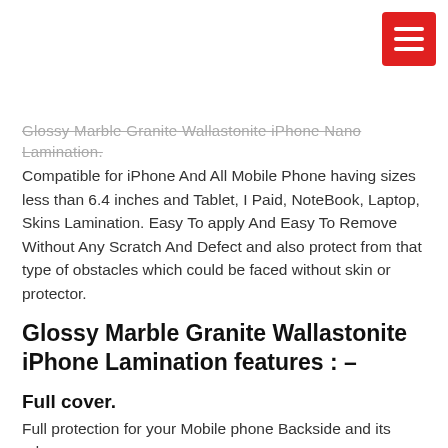Glossy Marble Granite Wallastonite iPhone Nano Lamination. Compatible for iPhone And All Mobile Phone having sizes less than 6.4 inches and Tablet, I Paid, NoteBook, Laptop, Skins Lamination. Easy To apply And Easy To Remove Without Any Scratch And Defect and also protect from that type of obstacles which could be faced without skin or protector.
Glossy Marble Granite Wallastonite iPhone Lamination features : –
Full cover.
Full protection for your Mobile phone Backside and its edges.
Anti-Slide.
Adopts imported materials, non-slip layer, can prevent the mobile phone sliding from your grabbing hand.
Anti-Shock.